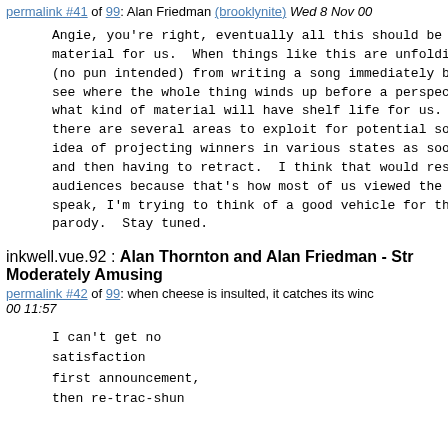permalink #41 of 99: Alan Friedman (brooklynite) Wed 8 Nov 00
Angie, you're right, eventually all this should be a material for us. When things like this are unfolding (no pun intended) from writing a song immediately bec see where the whole thing winds up before a perspecti what kind of material will have shelf life for us. M there are several areas to exploit for potential song idea of projecting winners in various states as soon and then having to retract. I think that would reson audiences because that's how most of us viewed the el speak, I'm trying to think of a good vehicle for this parody. Stay tuned.
inkwell.vue.92 : Alan Thornton and Alan Friedman - Str Moderately Amusing
permalink #42 of 99: when cheese is insulted, it catches its winc 00 11:57
I can't get no
satisfaction
first announcement,
then re-trac-shun